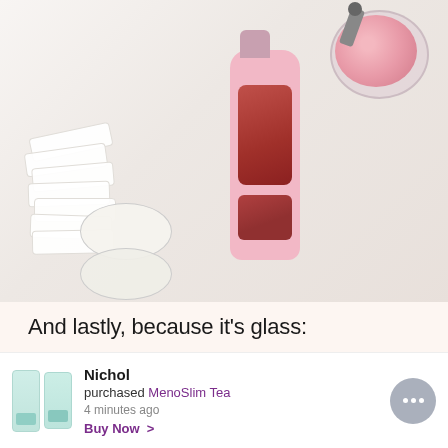[Figure (photo): Product flatlay photo showing a pink glass water bottle with two transparent windows revealing reddish-orange liquid, surrounded by white cotton pads, a cream jar with lid, and a glass bowl filled with pink himalayan salt, all on a light marble/white surface]
And lastly, because it's glass:
Nichol purchased MenoSlim Tea 4 minutes ago Buy Now >